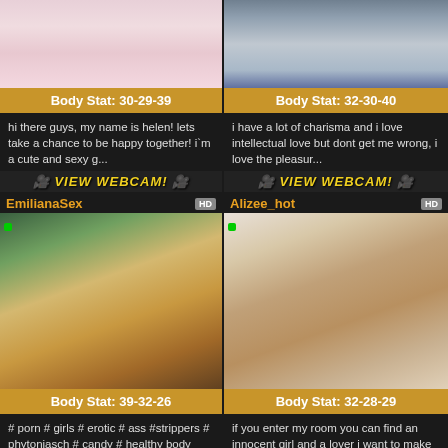[Figure (photo): Profile photo top-left, person lying on bed with pink/white bedding]
[Figure (photo): Profile photo top-right, person lying down]
Body Stat: 30-29-39
Body Stat: 32-30-40
hi there guys, my name is helen! lets take a chance to be happy together! i`m a cute and sexy g...
i have a lot of charisma and i love intellectual love but dont get me wrong, i love the pleasur...
VIEW WEBCAM!
VIEW WEBCAM!
EmilianaSex
Alizee_hot
[Figure (photo): EmilianaSex profile photo - young woman smiling, selfie style]
[Figure (photo): Alizee_hot profile photo]
Body Stat: 39-32-26
Body Stat: 32-28-29
# porn # girls # erotic # ass #strippers # phytoniasch # candy # healthy body
if you enter my room you can find an innocent girl and a lover i want to make